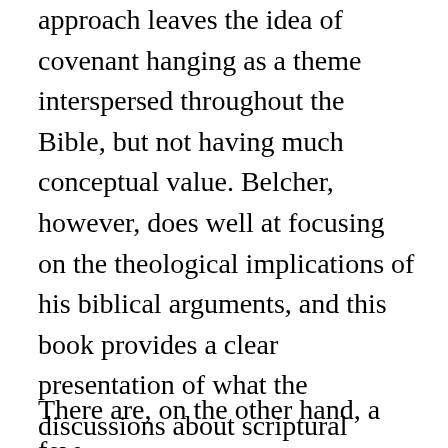approach leaves the idea of covenant hanging as a theme interspersed throughout the Bible, but not having much conceptual value. Belcher, however, does well at focusing on the theological implications of his biblical arguments, and this book provides a clear presentation of what the discussions about scriptural passages entail concerning what we should believe.
There are, on the other hand, a few